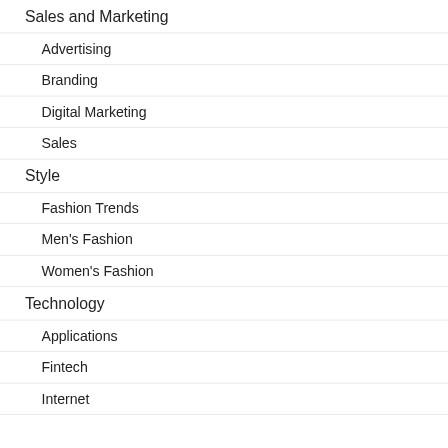Sales and Marketing
Advertising
Branding
Digital Marketing
Sales
Style
Fashion Trends
Men's Fashion
Women's Fashion
Technology
Applications
Fintech
Internet